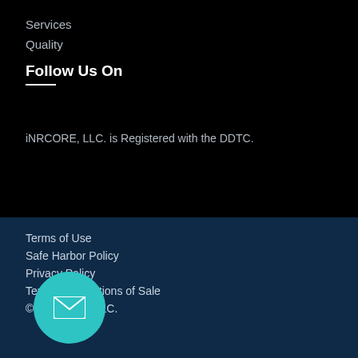Services
Quality
Follow Us On
iNRCORE, LLC. is Registered with the DDTC.
Terms of Use
Safe Harbor Policy
Privacy Policy
Terms & Conditions of Sale
© iNRCORE, LLC.
[Figure (illustration): Teal circular email/envelope button icon overlaid on the footer area]